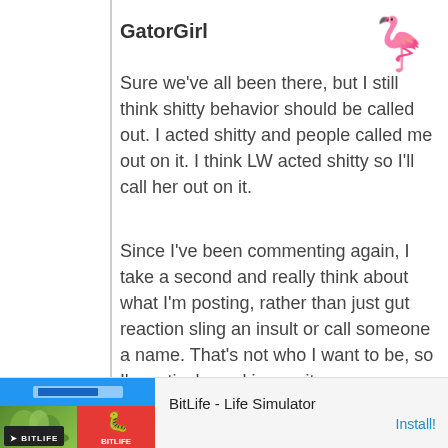GatorGirl
Sure we've all been there, but I still think shitty behavior should be called out. I acted shitty and people called me out on it. I think LW acted shitty so I'll call her out on it.
Since I've been commenting again, I take a second and really think about what I'm posting, rather than just gut reaction sling an insult or call someone a name. That's not who I want to be, so I'm actively working on it.
Link
[Figure (infographic): Ad banner for BitLife - Life Simulator app with green nature imagery, blue header, red section with sperm logo icon, and Install button]
BitLife - Life Simulator
Install!